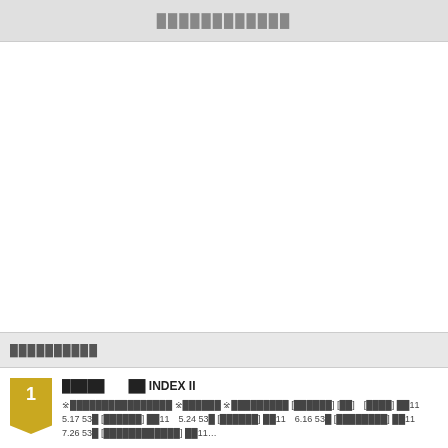████████████
██████████
①█████   ██ INDEX II ※████████████████ ※██████ ※█████████ [██████] [██]  [████] ██11   5.17 53█ [██████] ██11   5.24 53█ [██████] ██11   6.16 53█ [████████] ██11   7.26 53█ [████████████] ██11...